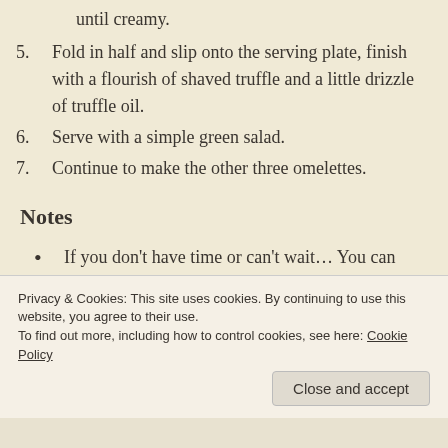until creamy.
5. Fold in half and slip onto the serving plate, finish with a flourish of shaved truffle and a little drizzle of truffle oil.
6. Serve with a simple green salad.
7. Continue to make the other three omelettes.
Notes
If you don't have time or can't wait… You can just add shaved truffle to your beaten eggs.
We get our eggs from the farm gate, they are
Privacy & Cookies: This site uses cookies. By continuing to use this website, you agree to their use.
To find out more, including how to control cookies, see here: Cookie Policy
Close and accept